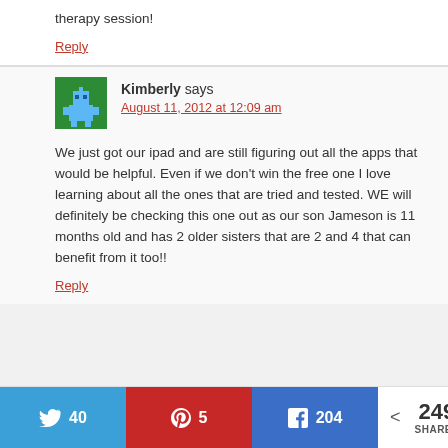therapy session!
Reply
Kimberly says
August 11, 2012 at 12:09 am
We just got our ipad and are still figuring out all the apps that would be helpful. Even if we don't win the free one I love learning about all the ones that are tried and tested. WE will definitely be checking this one out as our son Jameson is 11 months old and has 2 older sisters that are 2 and 4 that can benefit from it too!!
Reply
[Figure (other): Social share bar with Twitter (40), Pinterest (5), Facebook (204), and total shares (249)]